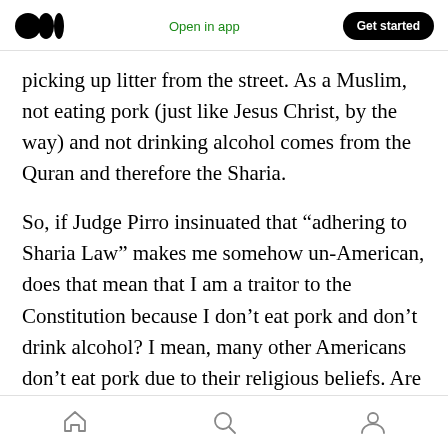Medium logo | Open in app | Get started
picking up litter from the street. As a Muslim, not eating pork (just like Jesus Christ, by the way) and not drinking alcohol comes from the Quran and therefore the Sharia.
So, if Judge Pirro insinuated that “adhering to Sharia Law” makes me somehow un-American, does that mean that I am a traitor to the Constitution because I don’t eat pork and don’t drink alcohol? I mean, many other Americans don’t eat pork due to their religious beliefs. Are they also traitors to the Constitution? Many
Home | Search | Profile